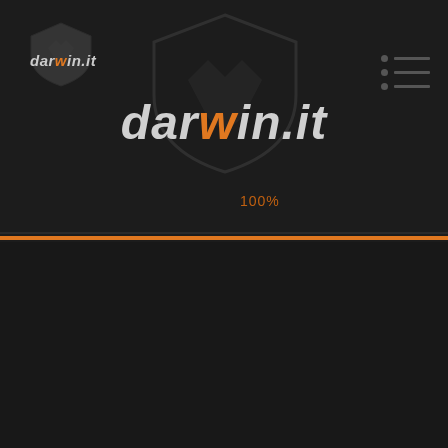[Figure (logo): Small shield icon top-left background]
[Figure (logo): Large shield icon center background]
darwin.it (small top-left logo)
darwin.it (large center logo)
[Figure (infographic): Navigation menu with three dots and lines, top-right]
100%
[Figure (infographic): Orange horizontal divider line across page]